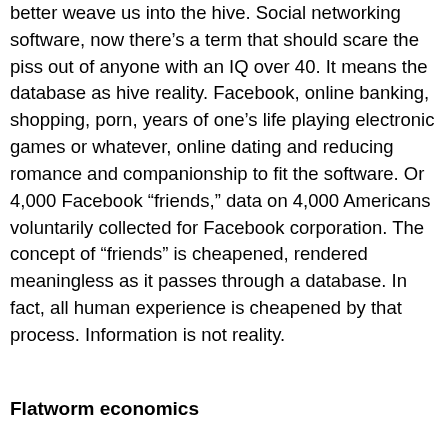better weave us into the hive. Social networking software, now there’s a term that should scare the piss out of anyone with an IQ over 40. It means the database as hive reality. Facebook, online banking, shopping, porn, years of one’s life playing electronic games or whatever, online dating and reducing romance and companionship to fit the software. Or 4,000 Facebook “friends,” data on 4,000 Americans voluntarily collected for Facebook corporation. The concept of “friends” is cheapened, rendered meaningless as it passes through a database. In fact, all human experience is cheapened by that process. Information is not reality.
Flatworm economics